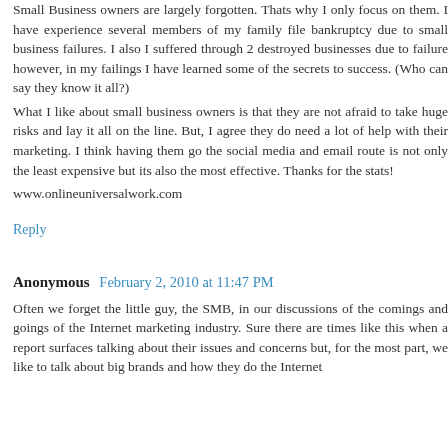Small Business owners are largely forgotten. Thats why I only focus on them. I have experience several members of my family file bankruptcy due to small business failures. I also I suffered through 2 destroyed businesses due to failure however, in my failings I have learned some of the secrets to success. (Who can say they know it all?)
What I like about small business owners is that they are not afraid to take huge risks and lay it all on the line. But, I agree they do need a lot of help with their marketing. I think having them go the social media and email route is not only the least expensive but its also the most effective. Thanks for the stats!
www.onlineuniversalwork.com
Reply
Anonymous  February 2, 2010 at 11:47 PM
Often we forget the little guy, the SMB, in our discussions of the comings and goings of the Internet marketing industry. Sure there are times like this when a report surfaces talking about their issues and concerns but, for the most part, we like to talk about big brands and how they do the Internet